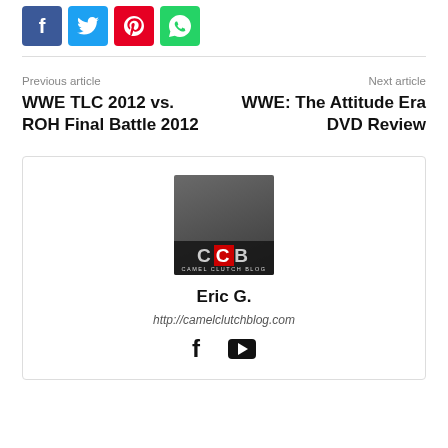[Figure (other): Social share buttons row: Facebook (blue), Twitter (cyan), Pinterest (red), WhatsApp (green)]
Previous article
WWE TLC 2012 vs. ROH Final Battle 2012
Next article
WWE: The Attitude Era DVD Review
[Figure (logo): Camel Clutch Blog (CCB) logo with a wrestler figure pointing up and CCB letters]
Eric G.
http://camelclutchblog.com
[Figure (other): Social icons: Facebook and YouTube]